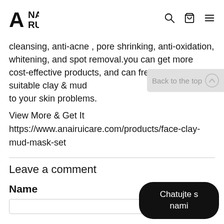ANAi ARUi
cleansing, anti-acne , pore shrinking, anti-oxidation, whitening, and spot removal.you can get more cost-effective products, and can freely choose the suitable clay & mud to your skin problems.
View More & Get It https://www.anairuicare.com/products/face-clay-mud-mask-set
Leave a comment
Name